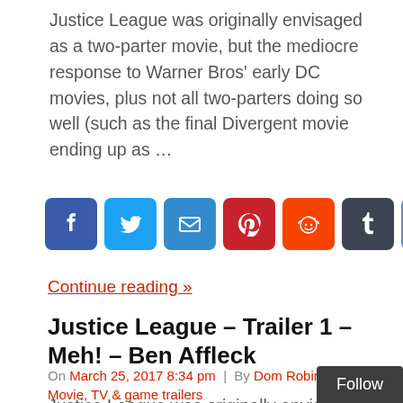Justice League was originally envisaged as a two-parter movie, but the mediocre response to Warner Bros' early DC movies, plus not all two-parters doing so well (such as the final Divergent movie ending up as …
[Figure (infographic): Row of social media share buttons: Facebook (blue), Twitter (light blue), Email (blue), Pinterest (red), Reddit (orange), Tumblr (dark blue/grey), Share/plus (blue)]
Continue reading »
Justice League – Trailer 1 – Meh! – Ben Affleck
On March 25, 2017 8:34 pm  |  By Dom Robinson  |  In Movie, TV & game trailers
Justice League was originally envisaged as a t